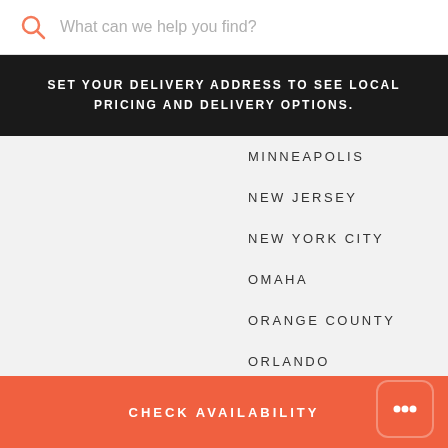What can we help you find?
SET YOUR DELIVERY ADDRESS TO SEE LOCAL PRICING AND DELIVERY OPTIONS.
MINNEAPOLIS
NEW JERSEY
NEW YORK CITY
OMAHA
ORANGE COUNTY
ORLANDO
PALM SPRINGS
PHOENIX
PORTLAND
ROCHESTER (partially visible)
CHECK AVAILABILITY